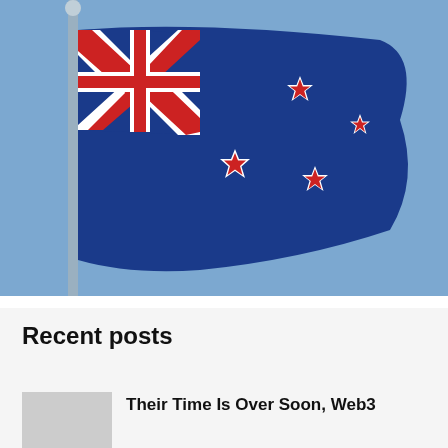[Figure (photo): Photograph of the New Zealand flag flying on a flagpole against a blue sky. The flag shows the Union Jack in the upper left canton and four red stars of the Southern Cross on a blue background.]
Recent posts
Their Time Is Over Soon, Web3